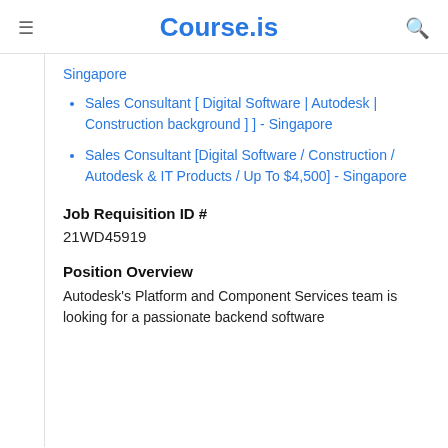Course.is
Singapore
Sales Consultant [ Digital Software | Autodesk | Construction background ] ] - Singapore
Sales Consultant [Digital Software / Construction / Autodesk & IT Products / Up To $4,500] - Singapore
Job Requisition ID #
21WD45919
Position Overview
Autodesk's Platform and Component Services team is looking for a passionate backend software